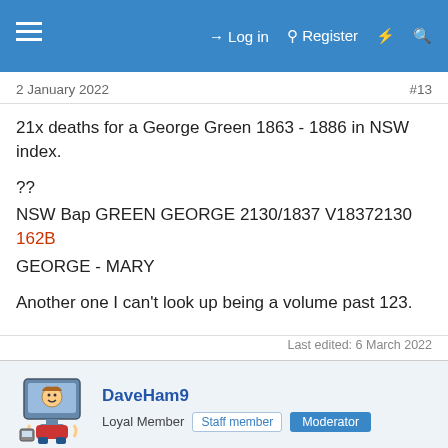Log in  Register
2 January 2022   #13
21x deaths for a George Green 1863 - 1886 in NSW index.

??
NSW Bap GREEN GEORGE 2130/1837 V18372130 162B
GEORGE - MARY

Another one I can't look up being a volume past 123.
Last edited: 6 March 2022
DaveHam9
Loyal Member  Staff member  Moderator
This site uses cookies to help personalise content, tailor your experience and to keep you logged in if you register.
By continuing to use this site, you are consenting to our use of cookies.
Accept  Learn more...